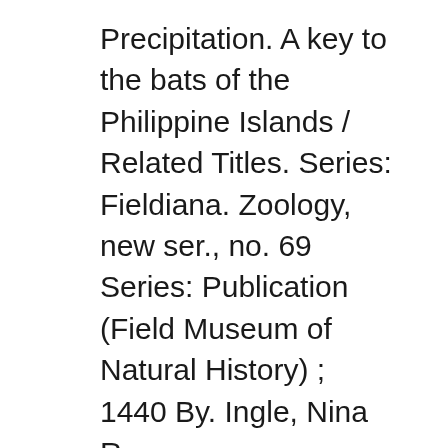Precipitation. A key to the bats of the Philippine Islands / Related Titles. Series: Fieldiana. Zoology, new ser., no. 69 Series: Publication (Field Museum of Natural History) ; 1440 By. Ingle, Nina R.
Precipitation in Philippines averaged 204.70 mm from 1901 until 2015, reaching an all time high of 510.20 mm in August of 1956 and a record low of 18.23 mm in February of 1983. This page includes a chart with historical data for Philippines Average Precipitation. bat surveys have been conducted, no infectious bat CoVs have been isolated from cell cultures, which hinders char-acterization of bat CoVs and evaluation of the risks posed by